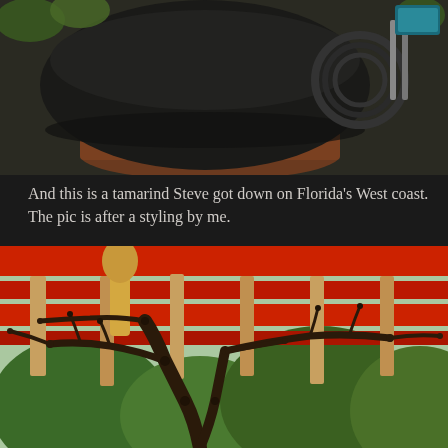[Figure (photo): Outdoor table with a large dark cast-iron wok or pan on a wooden barrel or stand, with a coil of black wire and scissors/shears visible in the background, surrounded by green leaves.]
And this is a tamarind Steve got down on Florida’s West coast. The pic is after a styling by me.
[Figure (photo): A tamarind bonsai tree styled and displayed hanging beneath a pergola structure with red overhead beams and wooden slats. The tree has gnarled, twisted dark brown branches spread wide. Green trees visible in the background.]